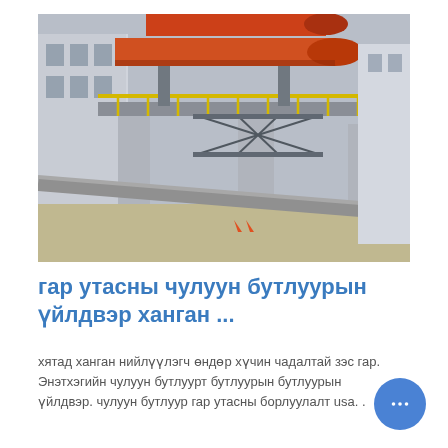[Figure (photo): Industrial facility showing large orange/red cylindrical rotary kilns or pipes mounted on elevated steel and concrete structures, with yellow railings and scaffolding. Industrial plant setting, overcast sky.]
гар утасны чулуун бутлуурын үйлдвэр ханган ...
хятад ханган нийлүүлэгч өндөр хүчин чадалтай зэс гар. Энэтхэгийн чулуун бутлуурт бутлуурын бутлуурын үйлдвэр. чулуун бутлуур гар утасны борлуулалт usa. .